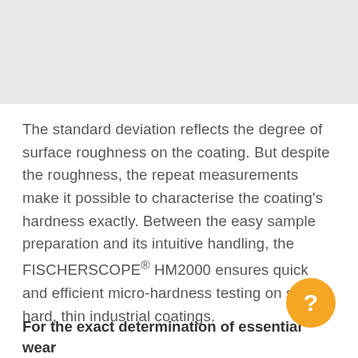[Figure (other): Light gray background area at the top of the page representing an image placeholder or faded image region]
The standard deviation reflects the degree of surface roughness on the coating. But despite the roughness, the repeat measurements make it possible to characterise the coating's hardness exactly. Between the easy sample preparation and its intuitive handling, the FISCHERSCOPE® HM2000 ensures quick and efficient micro-hardness testing on such hard, thin industrial coatings.
For the exact determination of essential wear